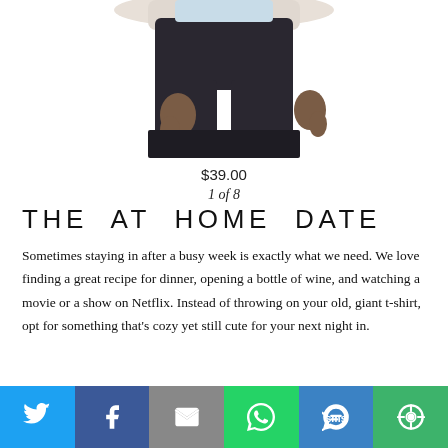[Figure (photo): Photo of a person wearing dark black leggings, cropped to show torso and legs, white top visible at top edge]
$39.00
1 of 8
THE AT HOME DATE
Sometimes staying in after a busy week is exactly what we need. We love finding a great recipe for dinner, opening a bottle of wine, and watching a movie or a show on Netflix. Instead of throwing on your old, giant t-shirt, opt for something that’s cozy yet still cute for your next night in.
[Figure (infographic): Social share bar with icons: Twitter (blue), Facebook (dark blue), Email (grey), WhatsApp (green), SMS (blue), More (green)]